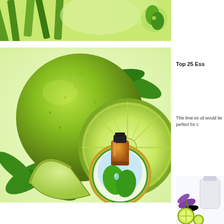[Figure (photo): Cropped top portion of lemongrass or green leaves with essential oil bottle and green leaf icon at top right, light green background]
[Figure (photo): Large lime fruit (whole and sliced) with green leaves on light green background, with essential oil bottle logo (brown dropper bottle with green leaf icon in gold/green circle)]
Top 25 Ess
This lime es oil would be perfect for c
[Figure (photo): Bottom right corner image showing lavender sprigs, a white bottle, and lime slices on white/light background]